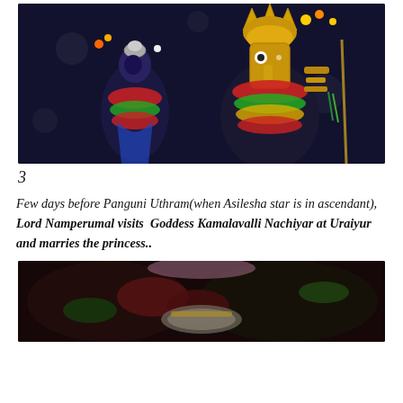[Figure (photo): Photograph of Lord Namperumal deity decorated with garlands of red, orange, yellow and green flowers, wearing ornate golden headdress and blue garment, against a dark blue background.]
3
Few days before Panguni Uthram(when Asilesha star is in ascendant),  Lord Namperumal visits  Goddess Kamalavalli Nachiyar at Uraiyur and marries the princess..
[Figure (photo): Close-up photograph of deity feet or lower portion with decorative ornaments, red and green floral decorations, and silver/gold accessories against a dark background.]